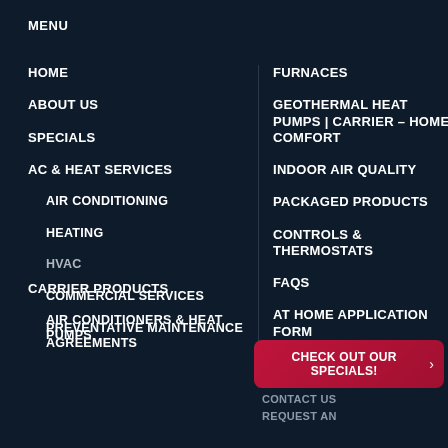MENU
HOME
ABOUT US
SPECIALS
AC & HEAT SERVICES
AIR CONDITIONING
HEATING
HVAC
COMMERCIAL SERVICES
PREVENTATIVE MAINTENANCE AGREEMENTS
CARRIER PRODUCTS
AIR CONDITIONERS & HEAT PUMPS
FURNACES
GEOTHERMAL HEAT PUMPS | CARRIER – HOME COMFORT
INDOOR AIR QUALITY
PACKAGED PRODUCTS
CONTROLS & THERMOSTATS
FAQS
AT HOME APPLICATION FORM
REVIEWS
CHECK OUT OUR SPECIALS! >
CONTACT US
REQUEST AN